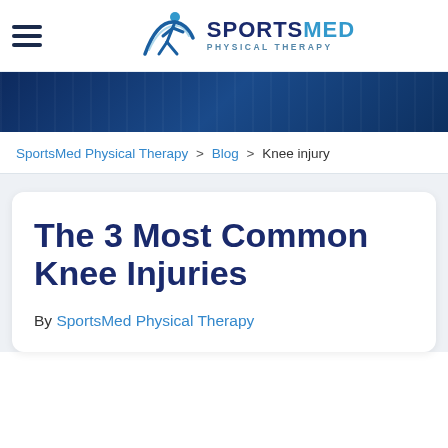[Figure (logo): SportsMed Physical Therapy logo with hamburger menu icon on left and runner figure with SPORTSMED PHYSICAL THERAPY text]
[Figure (photo): Dark blue banner/header image with vertical lines texture]
SportsMed Physical Therapy > Blog > Knee injury
The 3 Most Common Knee Injuries
By SportsMed Physical Therapy